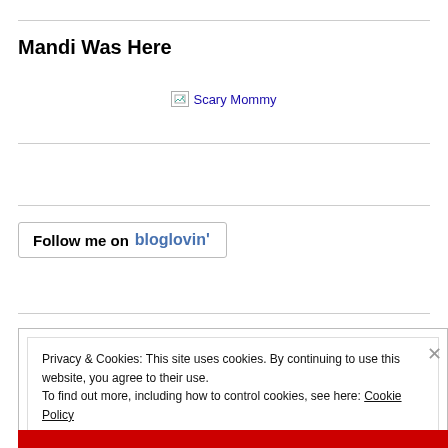Mandi Was Here
[Figure (other): Broken image placeholder for 'Scary Mommy' link]
Follow me on bloglovin'
Privacy & Cookies: This site uses cookies. By continuing to use this website, you agree to their use.
To find out more, including how to control cookies, see here: Cookie Policy
Close and accept